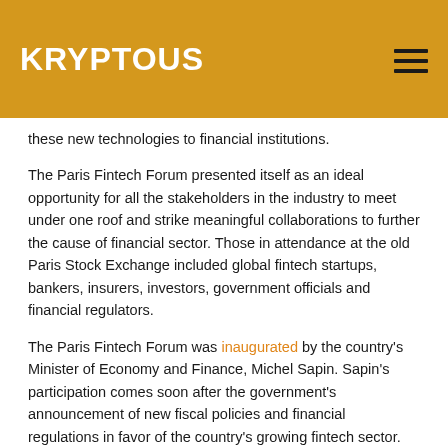KRYPTOUS
these new technologies to financial institutions.
The Paris Fintech Forum presented itself as an ideal opportunity for all the stakeholders in the industry to meet under one roof and strike meaningful collaborations to further the cause of financial sector. Those in attendance at the old Paris Stock Exchange included global fintech startups, bankers, insurers, investors, government officials and financial regulators.
The Paris Fintech Forum was inaugurated by the country's Minister of Economy and Finance, Michel Sapin. Sapin's participation comes soon after the government's announcement of new fiscal policies and financial regulations in favor of the country's growing fintech sector.
While addressing a gathering at the event, Sapin voiced his support towards blockchain technology. He is said to have mentioned that his department's priorities include fostering the development of blockchain technology and the creation of a legislative framework to enable such development. He also touched upon the Article 120 of the so-called